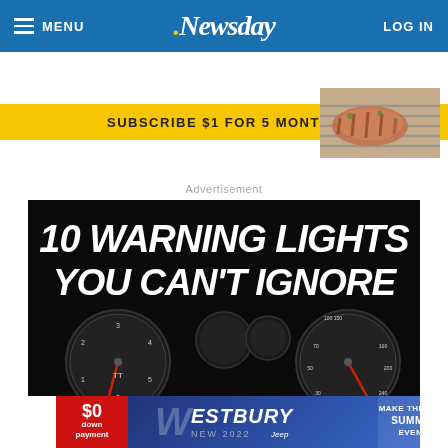MENU | Newsday | LOG IN
SUBSCRIBE $1 FOR 5 MONTHS
[Figure (photo): Food photo, grilled meat on a rack]
Advertisement
[Figure (photo): Advertisement: 10 WARNING LIGHTS YOU CAN'T IGNORE - showing car dashboard gauges on black background]
[Figure (photo): Westbury dealership ad - $0 down payment, New 2022 Jeep, Summer Event]